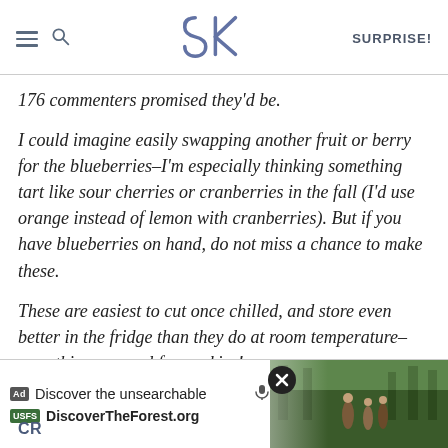SK | SURPRISE!
176 commenters promised they'd be.
I could imagine easily swapping another fruit or berry for the blueberries–I'm especially thinking something tart like sour cherries or cranberries in the fall (I'd use orange instead of lemon with cranberries). But if you have blueberries on hand, do not miss a chance to make these.
These are easiest to cut once chilled, and store even better in the fridge than they do at room temperature–something unusual for cookies!
[Figure (screenshot): Advertisement banner: 'Discover the unsearchable / DiscoverTheForest.org' with photo of people in forest, close button overlay, and partial 'CR' text at bottom left]